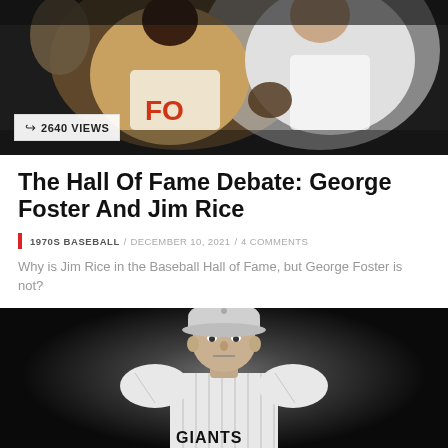[Figure (photo): Color photo of two baseball players in vintage uniforms, one wearing a jersey with 'FO' visible; a view counter badge shows '2640 VIEWS' in the lower left corner.]
The Hall Of Fame Debate: George Foster And Jim Rice
1970S BASEBALL / DECEMBER 10, 2021 / 4 COMMENTS
Why is Jim Rice in the Baseball Hall of Fame, but George Foster is not?
[Figure (photo): Black and white photo of a baseball player in a pinstripe Giants uniform, facing the camera with a serious expression, dark background.]